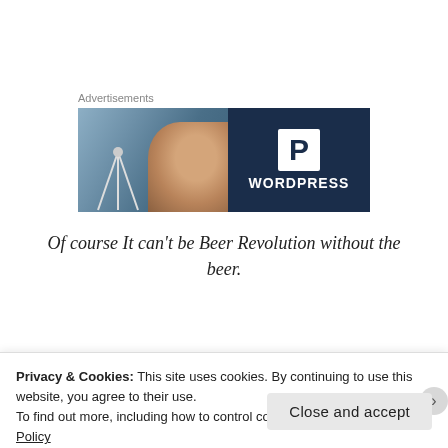Advertisements
[Figure (illustration): WordPress advertisement banner. Left half shows a blurred photo of a person smiling with a camera/tripod in the foreground. Right half is a dark navy blue with a white square containing a bold 'P' logo and 'WORDPRESS' text below in white.]
Of course It can't be Beer Revolution without the beer.
Privacy & Cookies: This site uses cookies. By continuing to use this website, you agree to their use.
To find out more, including how to control cookies, see here: Cookie Policy
Close and accept